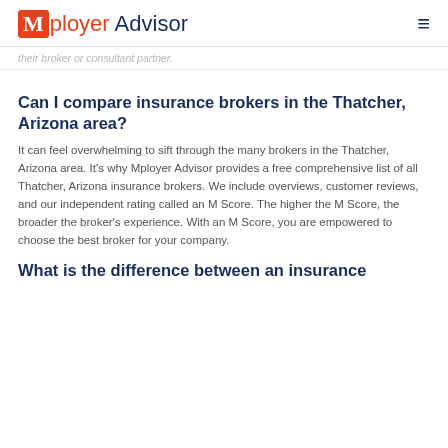Mployer Advisor
their broker or consultant partner.
Can I compare insurance brokers in the Thatcher, Arizona area?
It can feel overwhelming to sift through the many brokers in the Thatcher, Arizona area. It's why Mployer Advisor provides a free comprehensive list of all Thatcher, Arizona insurance brokers. We include overviews, customer reviews, and our independent rating called an M Score. The higher the M Score, the broader the broker's experience. With an M Score, you are empowered to choose the best broker for your company.
What is the difference between an insurance